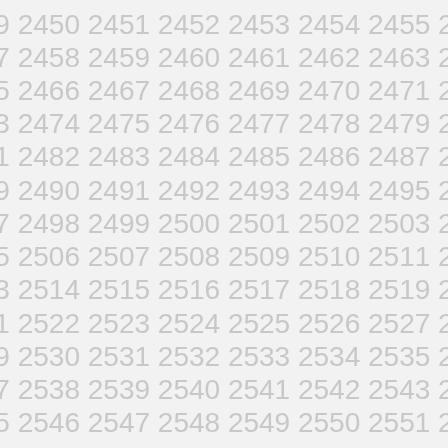2449 2450 2451 2452 2453 2454 2455 2456
2457 2458 2459 2460 2461 2462 2463 2464
2465 2466 2467 2468 2469 2470 2471 2472
2473 2474 2475 2476 2477 2478 2479 2480
2481 2482 2483 2484 2485 2486 2487 2488
2489 2490 2491 2492 2493 2494 2495 2496
2497 2498 2499 2500 2501 2502 2503 2504
2505 2506 2507 2508 2509 2510 2511 2512
2513 2514 2515 2516 2517 2518 2519 2520
2521 2522 2523 2524 2525 2526 2527 2528
2529 2530 2531 2532 2533 2534 2535 2536
2537 2538 2539 2540 2541 2542 2543 2544
2545 2546 2547 2548 2549 2550 2551 2552